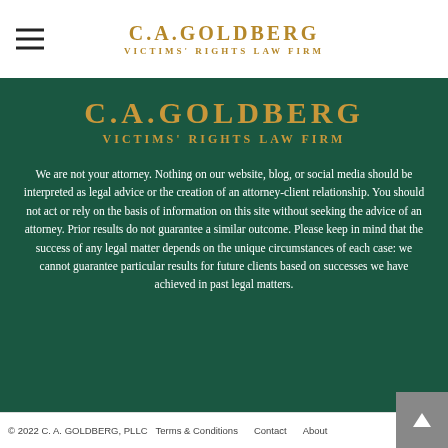C.A.GOLDBERG VICTIMS' RIGHTS LAW FIRM
C.A.GOLDBERG VICTIMS' RIGHTS LAW FIRM
We are not your attorney. Nothing on our website, blog, or social media should be interpreted as legal advice or the creation of an attorney-client relationship. You should not act or rely on the basis of information on this site without seeking the advice of an attorney. Prior results do not guarantee a similar outcome. Please keep in mind that the success of any legal matter depends on the unique circumstances of each case: we cannot guarantee particular results for future clients based on successes we have achieved in past legal matters.
© 2022 C. A. GOLDBERG, PLLC   Terms & Conditions   Contact   About